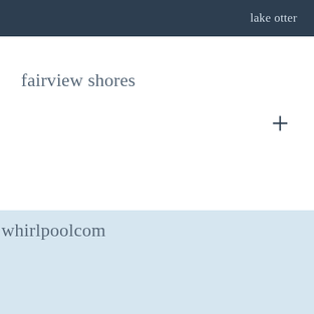lake otter
fairview shores
+
whirlpoolcom